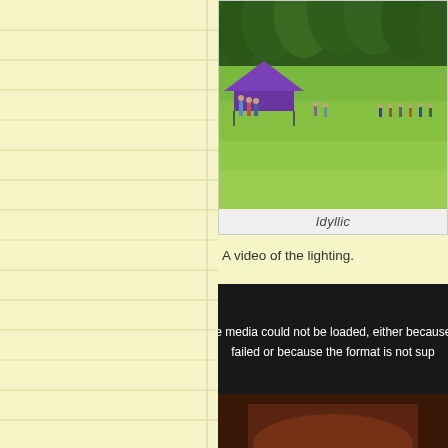[Figure (photo): Outdoor scene with people gathered on a large green grass field with tall trees in the background and a purple canopy tent on the left side]
Idyllic
A video of the lighting.
[Figure (screenshot): Video player showing error message: The media could not be loaded, either because the server or network failed or because the format is not supported]